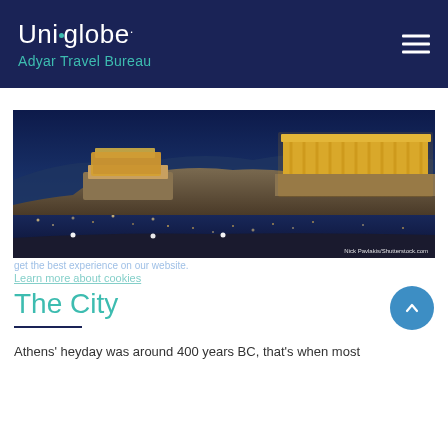Uniglobe. Adyar Travel Bureau
[Figure (photo): Night panoramic view of the Acropolis of Athens illuminated with golden lights, with the Parthenon prominent on the right side, set against a deep blue twilight sky with city lights below]
Nick Pavlakis/Shutterstock.com
get the best experience on our website.
Learn more about cookies
The City
Athens' heyday was around 400 years BC, that's when most